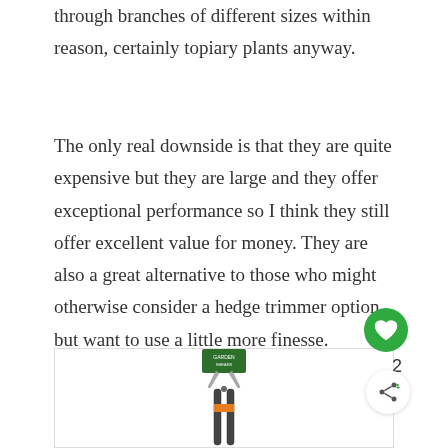through branches of different sizes within reason, certainly topiary plants anyway.
The only real downside is that they are quite expensive but they are large and they offer exceptional performance so I think they still offer excellent value for money. They are also a great alternative to those who might otherwise consider a hedge trimmer option but want to use a little more finesse.
[Figure (photo): Product photo of long-handled garden shears/topiary scissors standing upright, showing the blades at top and long handles extending downward, with product packaging visible at the top.]